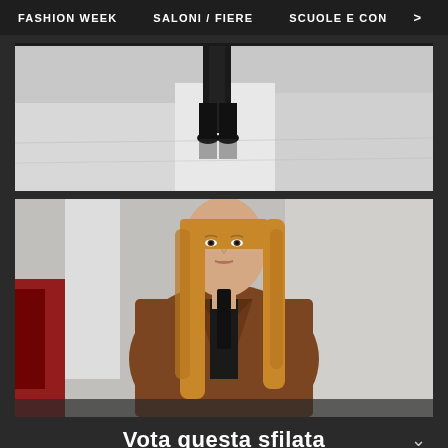FASHION WEEK   SALONI / FIERE   SCUOLE E CON  >
[Figure (photo): Close-up of model's boots and lower legs on a white catwalk runway floor, reflective surface.]
[Figure (photo): Fashion model with long blonde hair wearing a brown suede jacket and black top walking on a white runway catwalk.]
Vota questa sfilata
★ ★ ★ ★ ★